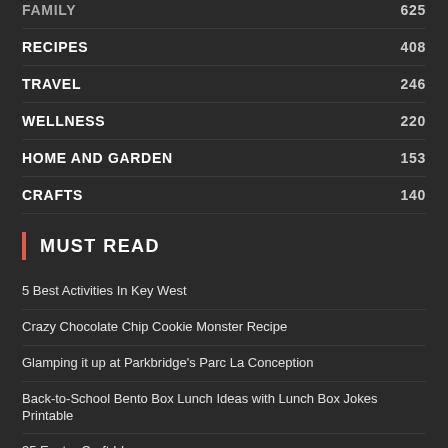FAMILY 625
RECIPES 408
TRAVEL 246
WELLNESS 220
HOME AND GARDEN 153
CRAFTS 140
MUST READ
5 Best Activities In Key West
Crazy Chocolate Chip Cookie Monster Recipe
Glamping it up at Parkbridge's Parc La Conception
Back-to-School Bento Box Lunch Ideas with Lunch Box Jokes Printable
35 Easter Craft Ideas